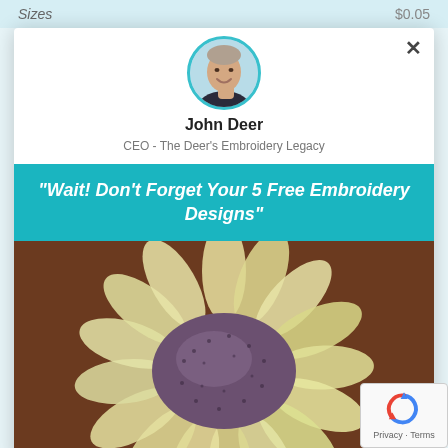Sizes   $0.05
[Figure (illustration): Circular avatar photo of a smiling middle-aged man in a dark jacket, with teal/aqua circular border]
John Deer
CEO - The Deer's Embroidery Legacy
"Wait! Don't Forget Your 5 Free Embroidery Designs"
[Figure (photo): Close-up photo of an embroidered sunflower with pale yellow petals and a dark purple-brown textured center, on a brown background]
[Figure (logo): Google reCAPTCHA badge with spinning arrows logo icon and 'Privacy - Terms' text]